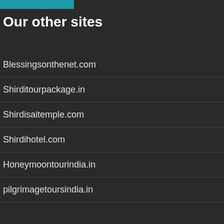Our other sites
Blessingsonthenet.com
Shirditourpackage.in
Shirdisaitemple.com
Shirdihotel.com
Honeymoontourindia.in
pilgrimagetoursindia.in